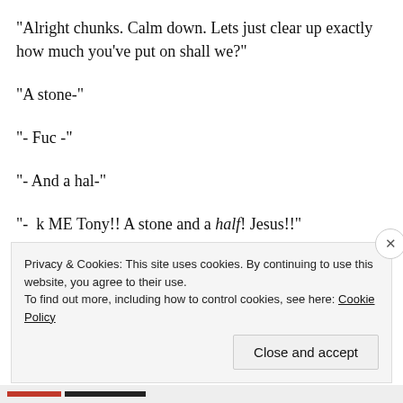“Alright chunks. Calm down. Lets just clear up exactly how much you’ve put on shall we?”
“A stone-”
“- Fuc -”
“- And a hal-”
“-  k ME Tony!! A stone and a half! Jesus!!”
“Alrightalright! Iv’e got to start somewhere. So. I’m cutting stuff
Privacy & Cookies: This site uses cookies. By continuing to use this website, you agree to their use.
To find out more, including how to control cookies, see here: Cookie Policy
Close and accept